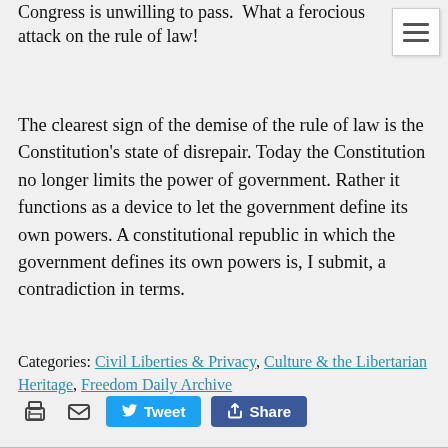Congress is unwilling to pass.  What a ferocious attack on the rule of law!
The clearest sign of the demise of the rule of law is the Constitution's state of disrepair. Today the Constitution no longer limits the power of government. Rather it functions as a device to let the government define its own powers. A constitutional republic in which the government defines its own powers is, I submit, a contradiction in terms.
Categories: Civil Liberties & Privacy, Culture & the Libertarian Heritage, Freedom Daily Archive